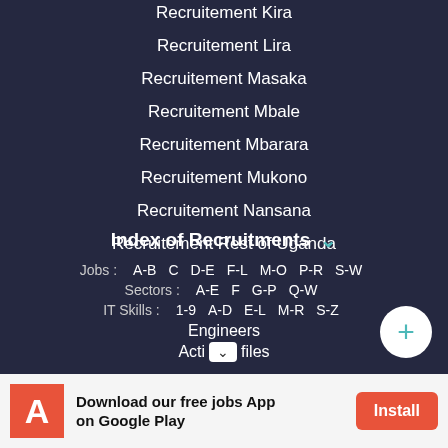Recruitement Kira
Recruitement Lira
Recruitement Masaka
Recruitement Mbale
Recruitement Mbarara
Recruitement Mukono
Recruitement Nansana
Recruitement Rest of Uganda
Index of Recruitments
Jobs : A-B C D-E F-L M-O P-R S-W
Sectors : A-E F G-P Q-W
IT Skills : 1-9 A-D E-L M-R S-Z
Engineers
Acti [dropdown] files
Download our free jobs App on Google Play